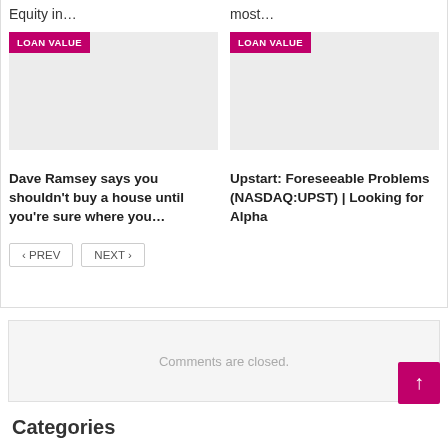Equity in…
most…
[Figure (photo): Loan Value card image placeholder (left) with LOAN VALUE badge]
Dave Ramsey says you shouldn't buy a house until you're sure where you…
[Figure (photo): Loan Value card image placeholder (right) with LOAN VALUE badge]
Upstart: Foreseeable Problems (NASDAQ:UPST) | Looking for Alpha
‹ PREV
NEXT ›
Comments are closed.
Categories